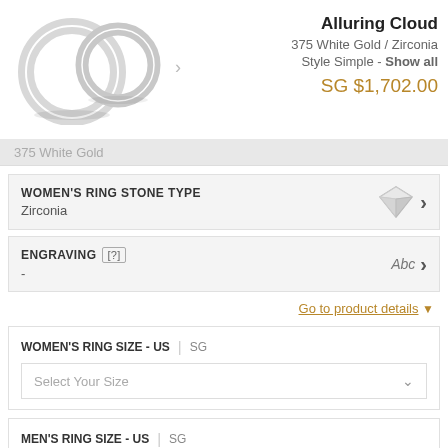[Figure (photo): Two white gold wedding rings side by side on white background]
Alluring Cloud
375 White Gold / Zirconia
Style Simple - Show all
SG $1,702.00
375 White Gold
WOMEN'S RING STONE TYPE
Zirconia
ENGRAVING [?]
-
Go to product details
WOMEN'S RING SIZE - US | SG
Select Your Size
MEN'S RING SIZE - US | SG
Select Your Size